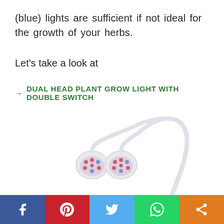(blue) lights are sufficient if not ideal for the growth of your herbs.
Let's take a look at
→ DUAL HEAD PLANT GROW LIGHT WITH DOUBLE SWITCH
[Figure (photo): Two dual-head plant grow lights with flexible white stems and LED bulb heads showing red/blue LEDs]
Social share bar with Facebook, Pinterest, Twitter, WhatsApp, and Share buttons